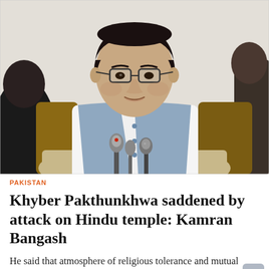[Figure (photo): A man in glasses and a light blue vest over white shalwar kameez sits at a press conference speaking into microphones. He has dark hair and is seated on a beige chair. The background shows an indoor setting.]
PAKISTAN
Khyber Pakthunkhwa saddened by attack on Hindu temple: Kamran Bangash
He said that atmosphere of religious tolerance and mutual coexistence would be maintained at every